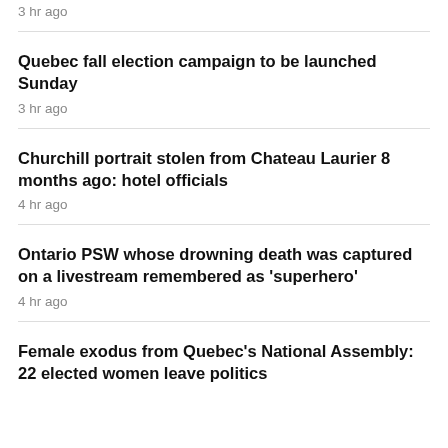3 hr ago
Quebec fall election campaign to be launched Sunday
3 hr ago
Churchill portrait stolen from Chateau Laurier 8 months ago: hotel officials
4 hr ago
Ontario PSW whose drowning death was captured on a livestream remembered as 'superhero'
4 hr ago
Female exodus from Quebec's National Assembly: 22 elected women leave politics